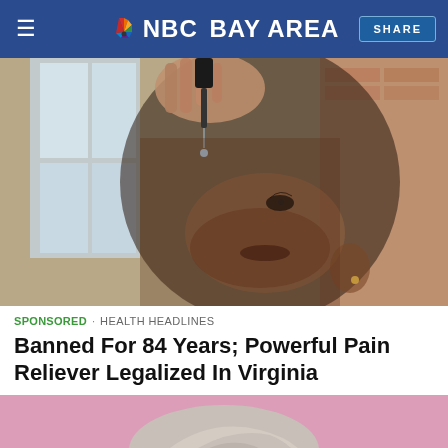NBC Bay Area | SHARE
[Figure (photo): A woman tilting her head back and using a dropper to place drops under her tongue, photographed against a blurred interior background with windows and brick.]
SPONSORED · HEALTH HEADLINES
Banned For 84 Years; Powerful Pain Reliever Legalized In Virginia
[Figure (photo): Partial view of a person's head with grey/white hair against a pink background.]